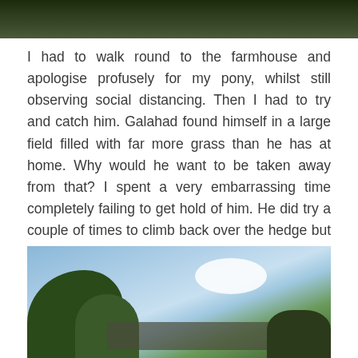[Figure (photo): Outdoor photo showing dark green field/hedge vegetation, top strip of page]
I had to walk round to the farmhouse and apologise profusely for my pony, whilst still observing social distancing.  Then I had to try and catch him.  Galahad found himself in a large field filled with far more grass than he has at home.  Why would he want to be taken away from that?   I spent a very embarrassing time completely failing to get hold of him.  He did try a couple of times to climb back over the hedge but it was much harder going the other way!
[Figure (photo): Outdoor photo showing trees, sky with clouds, and a farmhouse/building in the background]